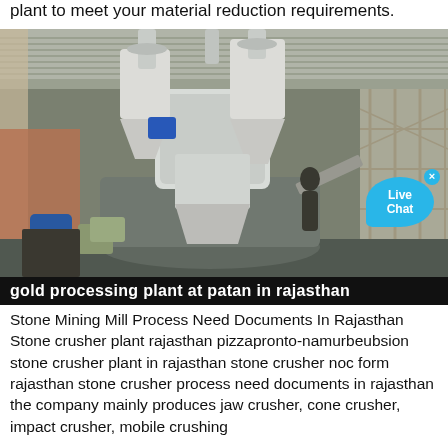plant to meet your material reduction requirements.
[Figure (photo): Industrial grinding mill machinery inside a warehouse/factory building. Large cylindrical equipment with pipes and hoppers visible. A 'Live Chat' speech bubble overlay appears in the upper right area of the image.]
gold processing plant at patan in rajasthan
Stone Mining Mill Process Need Documents In Rajasthan Stone crusher plant rajasthan pizzapronto-namurbeubsion stone crusher plant in rajasthan stone crusher noc form rajasthan stone crusher process need documents in rajasthan the company mainly produces jaw crusher, cone crusher, impact crusher, mobile crushing